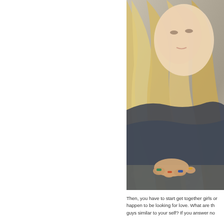[Figure (photo): A woman with long blonde curly hair lying or leaning on a gravel/pebble surface, wearing dark clothing with colorful rings on her fingers.]
Then, you have to start get together girls or happen to be looking for love. What are th guys similar to your self? If you answer no